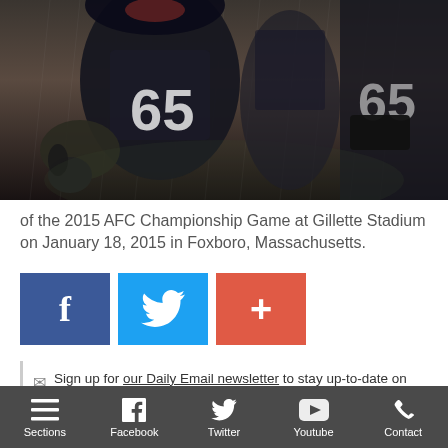[Figure (photo): Close-up photo of New England Patriots football players in dark jerseys, one wearing number 65, in rainy conditions]
of the 2015 AFC Championship Game at Gillette Stadium on January 18, 2015 in Foxboro, Massachusetts.
[Figure (other): Social share buttons: Facebook (blue), Twitter (light blue), Add/Plus (orange-red)]
Sign up for our Daily Email newsletter to stay up-to-date on the latest local news throughout Philadelphia.
Earlier today, reports emerged stating that the Eagles were sending
Sections  Facebook  Twitter  Youtube  Contact